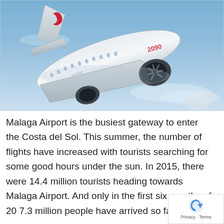[Figure (photo): A white commercial airplane (with a red crescent/arrow logo on the tail) photographed from below against a blue sky, banking in flight. The aircraft appears to be a wide-body jet with engines visible.]
Malaga Airport is the busiest gateway to enter the Costa del Sol. This summer, the number of flights have increased with tourists searching for some good hours under the sun. In 2015, there were 14.4 million tourists heading towards Malaga Airport. And only in the first six months of 20 7.3 million people have arrived so far.